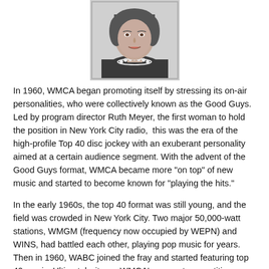[Figure (photo): Black and white portrait photo of a woman smiling, wearing a dark top and pearl necklace, identified as Ruth Meyer]
In 1960, WMCA began promoting itself by stressing its on-air personalities, who were collectively known as the Good Guys. Led by program director Ruth Meyer, the first woman to hold the position in New York City radio,  this was the era of the high-profile Top 40 disc jockey with an exuberant personality aimed at a certain audience segment. With the advent of the Good Guys format, WMCA became more "on top" of new music and started to become known for "playing the hits."
In the early 1960s, the top 40 format was still young, and the field was crowded in New York City. Two major 50,000-watt stations, WMGM (frequency now occupied by WEPN) and WINS, had battled each other, playing pop music for years. Then in 1960, WABC joined the fray and started featuring top 40 music. Ultimately, it was WMCA's earnest competition...